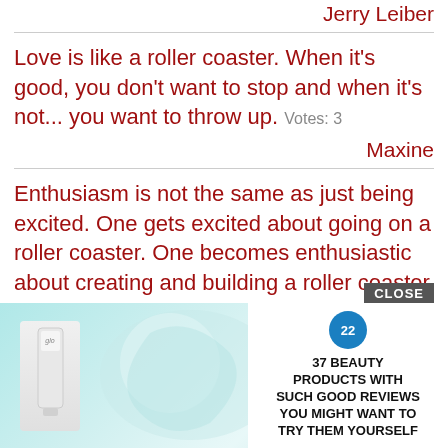Jerry Leiber
Love is like a roller coaster. When it's good, you don't want to stop and when it's not... you want to throw up. Votes: 3
Maxine
Enthusiasm is not the same as just being excited. One gets excited about going on a roller coaster. One becomes enthusiastic about creating and building a roller coaster Votes: 3
Bo
I'm ha... a time and the life... ridiculous... hat's happe... me on the ri...
[Figure (screenshot): Advertisement overlay showing beauty product with text: 37 BEAUTY PRODUCTS WITH SUCH GOOD REVIEWS YOU MIGHT WANT TO TRY THEM YOURSELF, with a CLOSE button and number badge 22]